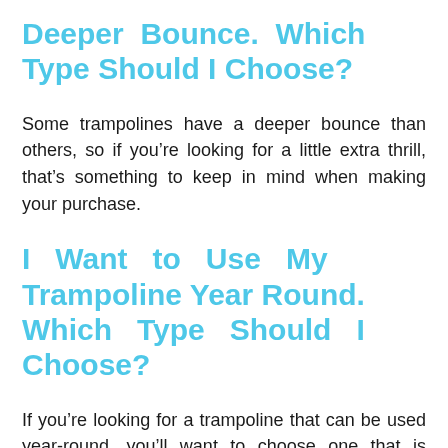Deeper Bounce. Which Type Should I Choose?
Some trampolines have a deeper bounce than others, so if you're looking for a little extra thrill, that's something to keep in mind when making your purchase.
I Want to Use My Trampoline Year Round. Which Type Should I Choose?
If you're looking for a trampoline that can be used year-round, you'll want to choose one that is weather-resistant and